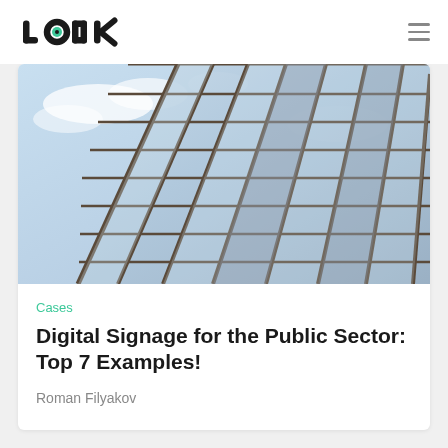LOOK
[Figure (photo): Low-angle photograph of a modern glass office building facade reflecting blue sky with clouds]
Cases
Digital Signage for the Public Sector: Top 7 Examples!
Roman Filyakov